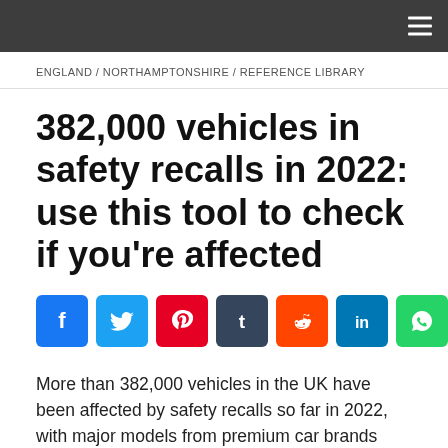≡
ENGLAND / NORTHAMPTONSHIRE / REFERENCE LIBRARY
382,000 vehicles in safety recalls in 2022: use this tool to check if you're affected
[Figure (infographic): Social share buttons: Facebook, Twitter, Pinterest, Tumblr, Reddit, LinkedIn, WhatsApp, Share More]
More than 382,000 vehicles in the UK have been affected by safety recalls so far in 2022, with major models from premium car brands among those most likely to require